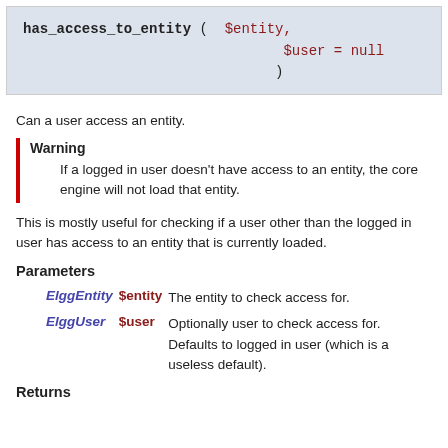has_access_to_entity ( $entity, $user = null )
Can a user access an entity.
Warning
If a logged in user doesn't have access to an entity, the core engine will not load that entity.
This is mostly useful for checking if a user other than the logged in user has access to an entity that is currently loaded.
Parameters
ElggEntity $entity - The entity to check access for.
ElggUser $user - Optionally user to check access for. Defaults to logged in user (which is a useless default).
Returns